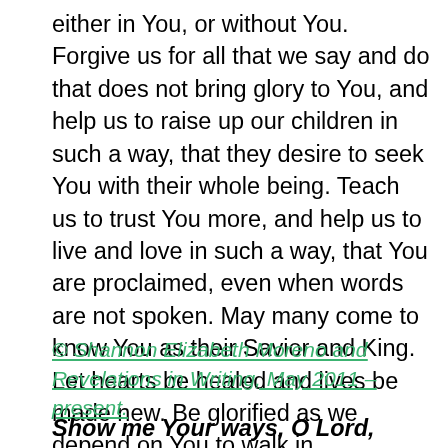either in You, or without You. Forgive us for all that we say and do that does not bring glory to You, and help us to raise up our children in such a way, that they desire to seek You with their whole being. Teach us to trust You more, and help us to live and love in such a way, that You are proclaimed, even when words are not spoken. May many come to know You as their Savior and King. Let hearts be healed and lives be made new. Be glorified as we depend on You to walk in righteousness. Amen.
© Shannon Elizabeth Moreno and Revelations in Writing, May 2011 – present.
Show me Your ways, O Lord, teach me Your